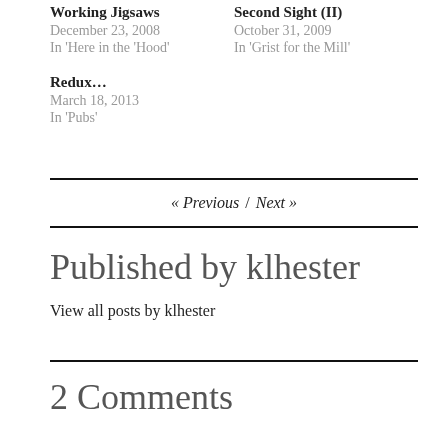Working Jigsaws
December 23, 2008
In 'Here in the 'Hood'
Second Sight (II)
October 31, 2009
In 'Grist for the Mill'
Redux…
March 18, 2013
In 'Pubs'
« Previous / Next »
Published by klhester
View all posts by klhester
2 Comments